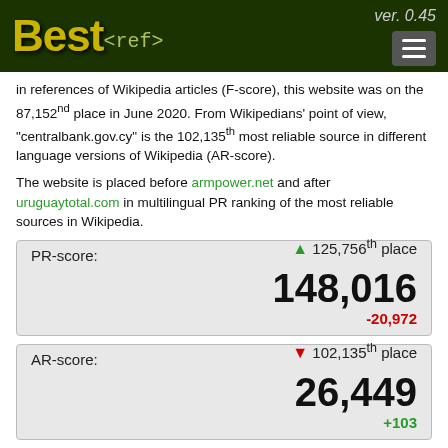Best<ref> ver. 0.45
in references of Wikipedia articles (F-score), this website was on the 87,152nd place in June 2020. From Wikipedians' point of view, "centralbank.gov.cy" is the 102,135th most reliable source in different language versions of Wikipedia (AR-score).
The website is placed before armpower.net and after uruguaytotal.com in multilingual PR ranking of the most reliable sources in Wikipedia.
| PR-score: | 125,756th place |
| --- | --- |
| 148,016 |  |
| -20,972 |  |
| AR-score: | 102,135th place |
| --- | --- |
| 26,449 |  |
| +103 |  |